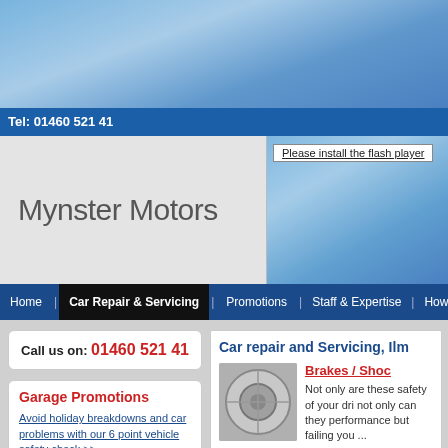[Figure (photo): Blue sky gradient background header image]
Tel: 01460 521 41
Mynster Motors
Please install the flash player
Home | Car Repair & Servicing | Promotions | Staff & Expertise | How to
Call us on: 01460 521 41
Garage Promotions
Avoid holiday breakdowns and car problems with our 6 point vehicle safety check >>
Stay safe this winter with our FREE car winter heath and safety check in
Car repair and Servicing, Ilm
Brakes / Shoc
Not only are these safety of your dri not only can they performance but failing you ...
Brakes / Shock A